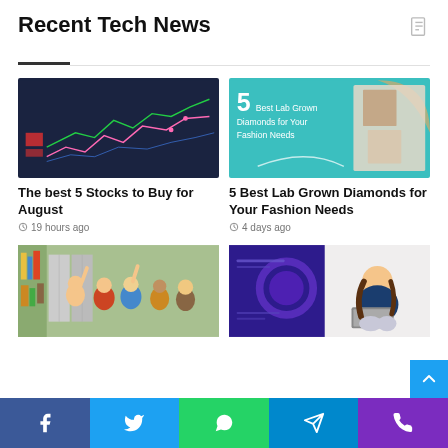Recent Tech News
[Figure (photo): Stock market chart display with red, green and pink line graphs on dark blue screen]
The best 5 Stocks to Buy for August
19 hours ago
[Figure (photo): 5 Best Lab Grown Diamonds for Your Fashion Needs - teal background with woman and jewelry photos]
5 Best Lab Grown Diamonds for Your Fashion Needs
4 days ago
[Figure (photo): Children in a classroom raising hands and smiling]
[Figure (photo): Woman sitting with laptop on purple/blue tech-themed background]
Facebook | Twitter | WhatsApp | Telegram | Phone